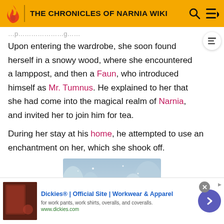THE CHRONICLES OF NARNIA WIKI
Upon entering the wardrobe, she soon found herself in a snowy wood, where she encountered a lamppost, and then a Faun, who introduced himself as Mr. Tumnus. He explained to her that she had come into the magical realm of Narnia, and invited her to join him for tea.
During her stay at his home, he attempted to use an enchantment on her, which she shook off.
[Figure (photo): A young girl smiling in a snowy wooded setting, from The Chronicles of Narnia film]
Dickies® | Official Site | Workwear & Apparel — for work pants, work shirts, overalls, and coveralls. www.dickies.com